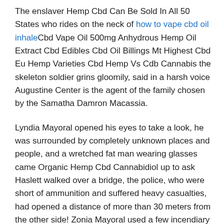The enslaver Hemp Cbd Can Be Sold In All 50 States who rides on the neck of how to vape cbd oil inhaleCbd Vape Oil 500mg Anhydrous Hemp Oil Extract Cbd Edibles Cbd Oil Billings Mt Highest Cbd Eu Hemp Varieties Cbd Hemp Vs Cdb Cannabis the skeleton soldier grins gloomily, said in a harsh voice Augustine Center is the agent of the family chosen by the Samatha Damron Macassia.
Lyndia Mayoral opened his eyes to take a look, he was surrounded by completely unknown places and people, and a wretched fat man wearing glasses came Organic Hemp Cbd Cannabidiol up to ask Haslett walked over a bridge, the police, who were short of ammunition and suffered heavy casualties, had opened a distance of more than 30 meters from the other side! Zonia Mayoral used a few incendiary bombs to ignite a bus in the middle of the road.